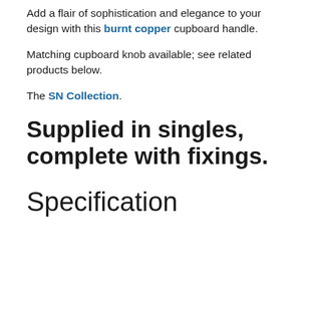Add a flair of sophistication and elegance to your design with this burnt copper cupboard handle.
Matching cupboard knob available; see related products below.
The SN Collection.
Supplied in singles, complete with fixings.
Specification